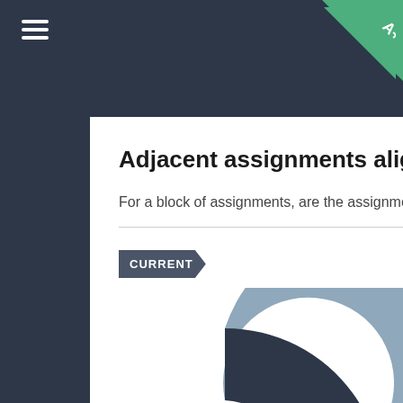≡  A+
Adjacent assignments aligned
For a block of assignments, are the assignment op
CURRENT
[Figure (donut-chart): A donut chart showing two segments: a dark navy/charcoal segment (approximately 30%) and a light steel-blue/grey segment (approximately 70%). The chart is partially cropped at the bottom of the page.]